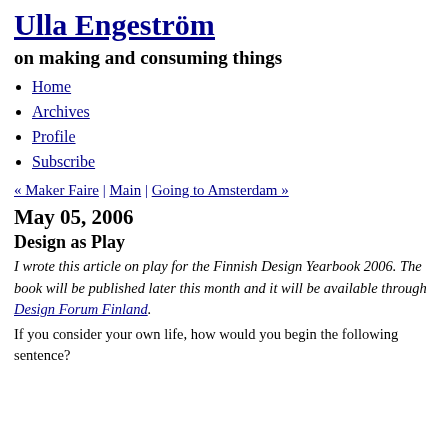Ulla Engeström
on making and consuming things
Home
Archives
Profile
Subscribe
« Maker Faire | Main | Going to Amsterdam »
May 05, 2006
Design as Play
I wrote this article on play for the Finnish Design Yearbook 2006. The book will be published later this month and it will be available through Design Forum Finland.
If you consider your own life, how would you begin the following sentence?